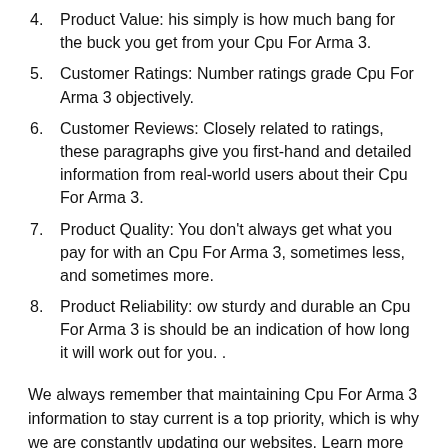4. Product Value: his simply is how much bang for the buck you get from your Cpu For Arma 3.
5. Customer Ratings: Number ratings grade Cpu For Arma 3 objectively.
6. Customer Reviews: Closely related to ratings, these paragraphs give you first-hand and detailed information from real-world users about their Cpu For Arma 3.
7. Product Quality: You don't always get what you pay for with an Cpu For Arma 3, sometimes less, and sometimes more.
8. Product Reliability: ow sturdy and durable an Cpu For Arma 3 is should be an indication of how long it will work out for you. .
We always remember that maintaining Cpu For Arma 3 information to stay current is a top priority, which is why we are constantly updating our websites. Learn more about us using online sources.